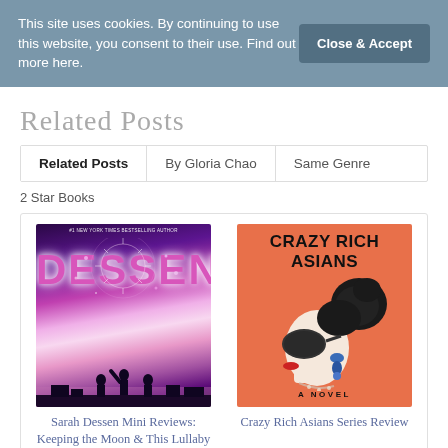This site uses cookies. By continuing to use this website, you consent to their use. Find out more here.
Close & Accept
Related Posts
Related Posts | By Gloria Chao | Same Genre
2 Star Books
[Figure (photo): Book cover of Sarah Dessen novel with fireworks background and silhouettes]
Sarah Dessen Mini Reviews: Keeping the Moon & This Lullaby
[Figure (photo): Book cover of Crazy Rich Asians novel with illustrated woman in profile wearing sunglasses on orange background]
Crazy Rich Asians Series Review